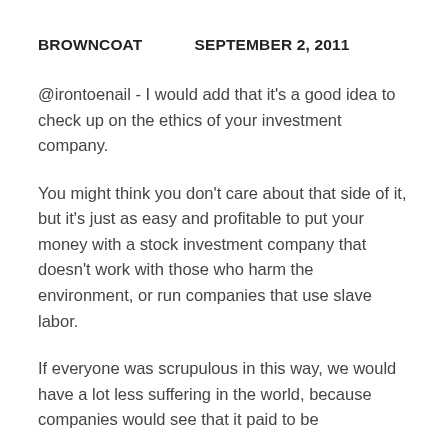BROWNCOAT    SEPTEMBER 2, 2011
@irontoenail - I would add that it's a good idea to check up on the ethics of your investment company.
You might think you don't care about that side of it, but it's just as easy and profitable to put your money with a stock investment company that doesn't work with those who harm the environment, or run companies that use slave labor.
If everyone was scrupulous in this way, we would have a lot less suffering in the world, because companies would see that it paid to be